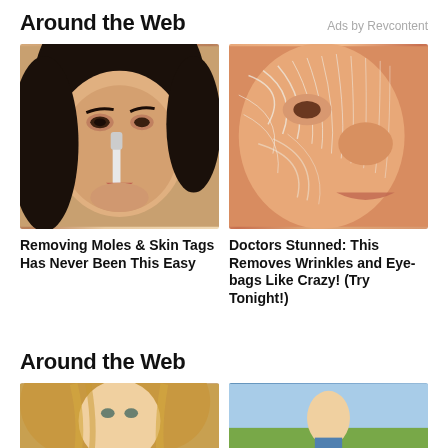Around the Web
Ads by Revcontent
[Figure (photo): Woman applying something to her nose with a brush or tool, close-up face portrait]
[Figure (photo): Close-up of a face with dry, flaky skin showing wrinkles and skin texture]
Removing Moles & Skin Tags Has Never Been This Easy
Doctors Stunned: This Removes Wrinkles and Eye-bags Like Crazy! (Try Tonight!)
Around the Web
[Figure (photo): Blonde woman portrait, partial view cropped at bottom]
[Figure (photo): Outdoor scene with person, partial view cropped at bottom]